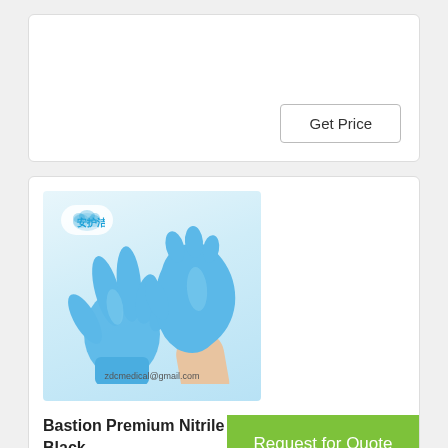Get Price
[Figure (photo): Blue nitrile gloves product image with Chinese brand logo 安护洁 and email zdcmedical@gmail.com watermark]
Bastion Premium Nitrile Black
Request for Quote